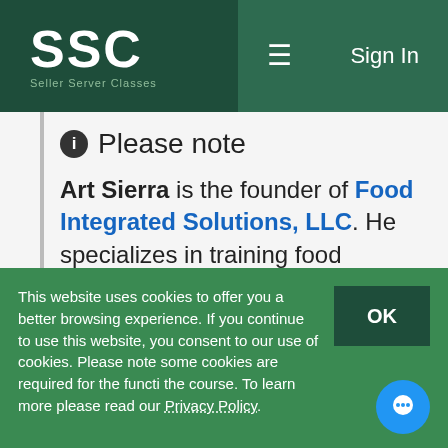[Figure (logo): SSC Seller Server Classes logo in white on dark green header, with hamburger menu icon and Sign In button]
Please note
Art Sierra is the founder of Food Integrated Solutions, LLC. He specializes in training food industry personnel to comply with State mandated training and certifications for Food Managers and Food Handlers.

Mr. Sierra graduated from California State University, Northridge with a degree in
This website uses cookies to offer you a better browsing experience. If you continue to use this website, you consent to our use of cookies. Please note some cookies are required for the functi the course. To learn more please read our Privacy Policy.